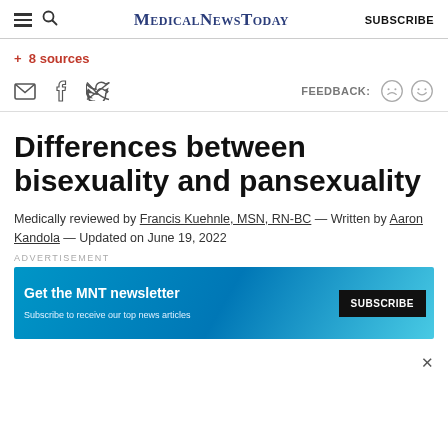MedicalNewsToday  SUBSCRIBE
+ 8 sources
FEEDBACK: 😞 😊
Differences between bisexuality and pansexuality
Medically reviewed by Francis Kuehnle, MSN, RN-BC — Written by Aaron Kandola — Updated on June 19, 2022
[Figure (screenshot): Advertisement banner for MNT newsletter with text 'Get the MNT newsletter' and 'Subscribe to receive our top news articles' with a Subscribe button]